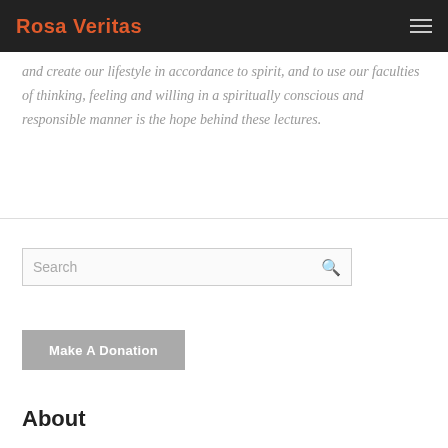Rosa Veritas
and create our lifestyle in accordance to spirit, and to use our faculties of thinking, feeling and willing in a spiritually conscious and responsible manner is the hope behind these lectures.
[Figure (other): Search input box with search icon]
[Figure (other): Make A Donation button]
About